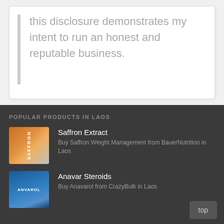this disclosure demonstrates my intent to run an honest and reputable business.
POPULAR PRODUCTS IN LAOS
Saffron Extract
Buy Saffron Weight Management from BauerNutrition in Laos
Anavar Steroids
Buy Anavarol from CrazyBulk in Laos